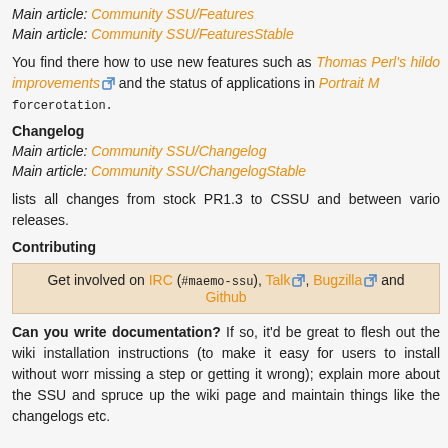Main article: Community SSU/Features
Main article: Community SSU/FeaturesStable
You find there how to use new features such as Thomas Perl's hildo improvements and the status of applications in Portrait M forcerotation.
Changelog
Main article: Community SSU/Changelog
Main article: Community SSU/ChangelogStable
lists all changes from stock PR1.3 to CSSU and between vario releases.
Contributing
Get involved on IRC (#maemo-ssu), Talk, Bugzilla and Github
Can you write documentation? If so, it'd be great to flesh out the wiki installation instructions (to make it easy for users to install without worr missing a step or getting it wrong); explain more about the SSU and spruce up the wiki page and maintain things like the changelogs etc.